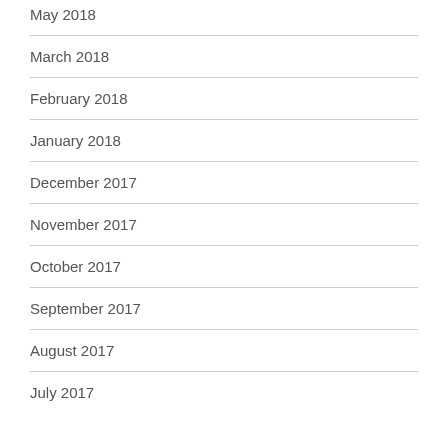May 2018
March 2018
February 2018
January 2018
December 2017
November 2017
October 2017
September 2017
August 2017
July 2017